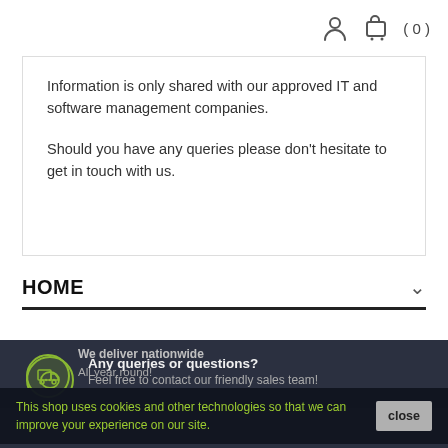(person icon) (cart icon) ( 0 )
Information is only shared with our approved IT and software management companies.

Should you have any queries please don't hesitate to get in touch with us.
HOME
Any queries or questions?
Feel free to contact our friendly sales team!
We deliver nationwide
All year round!
This shop uses cookies and other technologies so that we can improve your experience on our site.